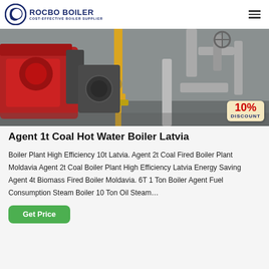ROCBO BOILER — COST-EFFECTIVE BOILER SUPPLIER
[Figure (photo): Industrial boiler plant showing a red gas burner assembly on the left, yellow gas pipe fittings in the center, and metallic pipe work on the right inside an industrial facility. A 10% DISCOUNT badge appears in the bottom-right corner of the image.]
Agent 1t Coal Hot Water Boiler Latvia
Boiler Plant High Efficiency 10t Latvia. Agent 2t Coal Fired Boiler Plant Moldavia Agent 2t Coal Boiler Plant High Efficiency Latvia Energy Saving Agent 4t Biomass Fired Boiler Moldavia. 6T 1 Ton Boiler Agent Fuel Consumption Steam Boiler 10 Ton Oil Steam…
Get Price